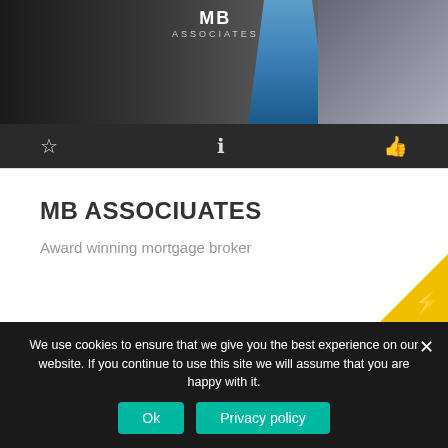[Figure (screenshot): Top banner showing MB Associates logo text and a woman in a blue dress standing in front of a building with glass windows, dark background]
[Figure (screenshot): Icon bar with star, info (i), and thumbs-up icons on dark background]
MB ASSOCIUATES
Award winning mortgage broker
[Figure (screenshot): Second listing card showing a smartphone with a baby app (Nannysta) on a teal/green background, partially visible]
We use cookies to ensure that we give you the best experience on our website. If you continue to use this site we will assume that you are happy with it.